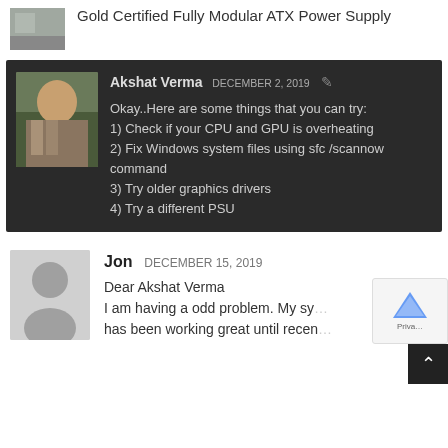Gold Certified Fully Modular ATX Power Supply
[Figure (photo): Small thumbnail image, appears to be a product photo]
Akshat Verma DECEMBER 2, 2019
Okay..Here are some things that you can try:
1) Check if your CPU and GPU is overheating
2) Fix Windows system files using sfc /scannow command
3) Try older graphics drivers
4) Try a different PSU
[Figure (photo): Portrait photo of Akshat Verma]
Jon DECEMBER 15, 2019
Dear Akshat Verma
I am having a odd problem. My sy... has been working great until recently...